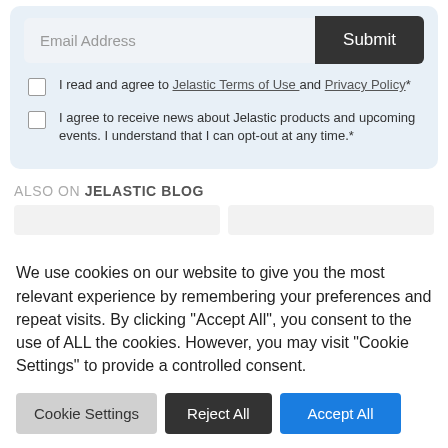Email Address
Submit
I read and agree to Jelastic Terms of Use and Privacy Policy*
I agree to receive news about Jelastic products and upcoming events. I understand that I can opt-out at any time.*
ALSO ON JELASTIC BLOG
We use cookies on our website to give you the most relevant experience by remembering your preferences and repeat visits. By clicking “Accept All”, you consent to the use of ALL the cookies. However, you may visit "Cookie Settings" to provide a controlled consent.
Cookie Settings
Reject All
Accept All